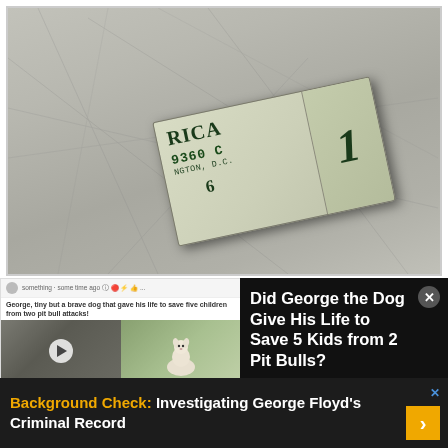[Figure (photo): A US one-dollar bill lying on a scratched gray surface, rotated about -12 degrees. Visible text on the bill includes 'RICA', '9360 C', 'NGTON, D.C.', '6', and a large '1'.]
[Figure (screenshot): Facebook/social media post thumbnail showing text 'George, tiny but a brave dog that gave his life to save five children from two pit bull attacks!' with two images side by side: left shows a dog statue with play button overlay, right shows a small white terrier dog outdoors.]
Did George the Dog Give His Life to Save 5 Kids from 2 Pit Bulls?
Background Check:  Investigating George Floyd's Criminal Record